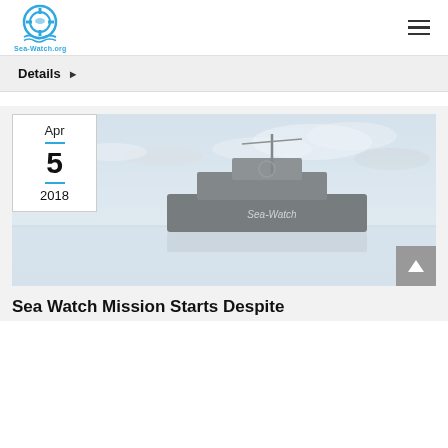[Figure (logo): Sea-Watch.org logo — circular life preserver icon in blue and white with waves, text 'Sea-Watch.org' below]
Sea-Watch.org | Navigation menu (hamburger icon)
Details ▶
[Figure (photo): Photograph of a Sea-Watch rescue vessel on the sea under a cloudy sky, with a date badge overlay showing Apr 5 2018]
Sea Watch Mission Starts Despite